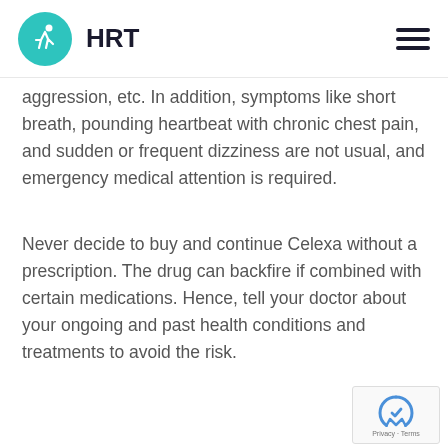HRT
aggression, etc. In addition, symptoms like short breath, pounding heartbeat with chronic chest pain, and sudden or frequent dizziness are not usual, and emergency medical attention is required.
Never decide to buy and continue Celexa without a prescription. The drug can backfire if combined with certain medications. Hence, tell your doctor about your ongoing and past health conditions and treatments to avoid the risk.